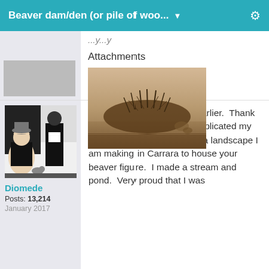Beaver dam/den (or pile of woo...
Attachments
[Figure (photo): Sepia-toned photograph of a beaver dam or pile of sticks/wood in water, misty background]
[Figure (illustration): Black and white comic/illustration style avatar of a person]
Diomede
Posts: 13,214
January 2017
Oh, I wish I had seen this earlier.  Thank you, thank you.  But I just replicated my own beaver dam to go with a landscape I am making in Carrara to house your beaver figure.  I made a stream and pond.  Very proud that I was able to...